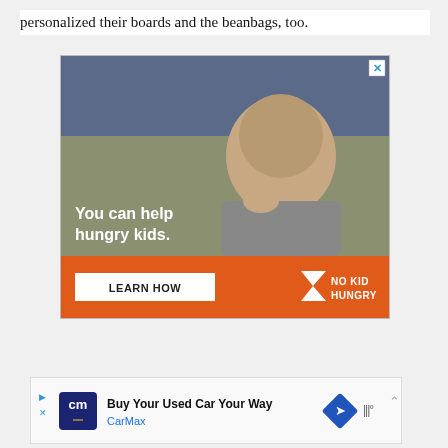personalized their boards and the beanbags, too.
[Figure (photo): Advertisement for No Kid Hungry showing a young boy eating, with text 'You can help hungry kids.' and an orange bar with 'LEARN HOW' button and 'NO KID HUNGRY' logo with a close X button in the top right corner.]
[Figure (photo): Advertisement for CarMax showing 'Buy Your Used Car Your Way' with the CarMax logo, a navigation/directions icon, sound indicator, and scroll-up arrow.]